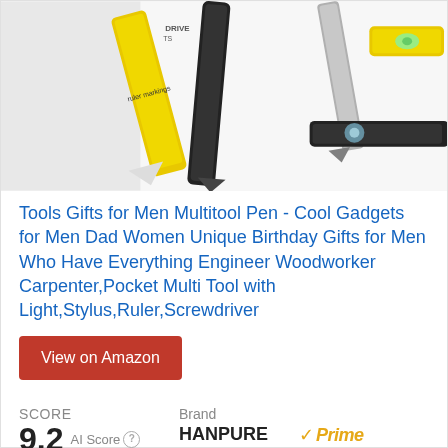[Figure (photo): Product photo showing multitool pens and tools on white background: yellow pencil-shaped tool, black multi-tool pen, screwdriver pen, yellow ruler tool with level indicator, and black stylus pen.]
Tools Gifts for Men Multitool Pen - Cool Gadgets for Men Dad Women Unique Birthday Gifts for Men Who Have Everything Engineer Woodworker Carpenter,Pocket Multi Tool with Light,Stylus,Ruler,Screwdriver
View on Amazon
SCORE
9.2 AI Score
Brand
HANPURE
Prime